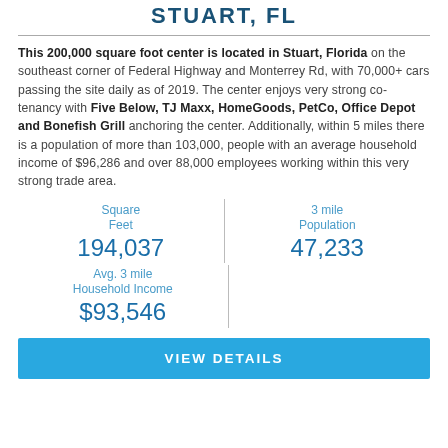STUART, FL
This 200,000 square foot center is located in Stuart, Florida on the southeast corner of Federal Highway and Monterrey Rd, with 70,000+ cars passing the site daily as of 2019. The center enjoys very strong co-tenancy with Five Below, TJ Maxx, HomeGoods, PetCo, Office Depot and Bonefish Grill anchoring the center. Additionally, within 5 miles there is a population of more than 103,000, people with an average household income of $96,286 and over 88,000 employees working within this very strong trade area.
| Square Feet | 3 mile Population |
| --- | --- |
| 194,037 | 47,233 |
| Avg. 3 mile Household Income |
| --- |
| $93,546 |
VIEW DETAILS